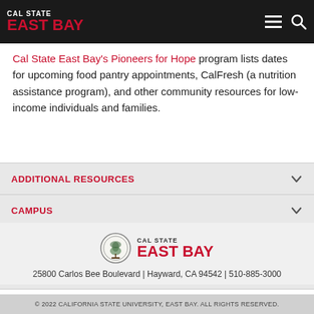Cal State East Bay
Cal State East Bay's Pioneers for Hope program lists dates for upcoming food pantry appointments, CalFresh (a nutrition assistance program), and other community resources for low-income individuals and families.
ADDITIONAL RESOURCES
CAMPUS
LEGAL
TOOLS
[Figure (logo): Cal State East Bay seal and logo with text CAL STATE EAST BAY]
25800 Carlos Bee Boulevard | Hayward, CA 94542 | 510-885-3000
© 2022 CALIFORNIA STATE UNIVERSITY, EAST BAY. ALL RIGHTS RESERVED.